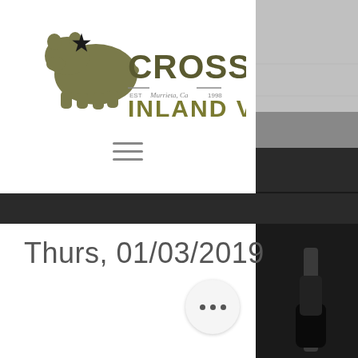[Figure (logo): CrossFit Inland Valley logo with bear silhouette and star]
[Figure (other): Hamburger menu icon (three horizontal lines)]
[Figure (photo): Black and white photo of gym equipment (barbell/weights) on the right side panel]
Thurs, 01/03/2019
[Figure (other): Three-dot ellipsis button (circular, light gray)]